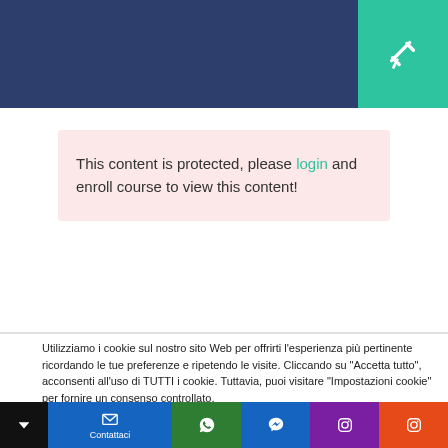[Figure (screenshot): Dark navy blue header bar with a teal/green button in the top-right corner containing a white pin/collapse icon]
This content is protected, please login and enroll course to view this content!
Utilizziamo i cookie sul nostro sito Web per offrirti l'esperienza più pertinente ricordando le tue preferenze e ripetendo le visite. Cliccando su "Accetta tutto", acconsenti all'uso di TUTTI i cookie. Tuttavia, puoi visitare "Impostazioni cookie" per fornire un consenso controllato.
Impostazioni Cookie
Accetta tutti
Contattaci  [icons: email, whatsapp, messenger, instagram]